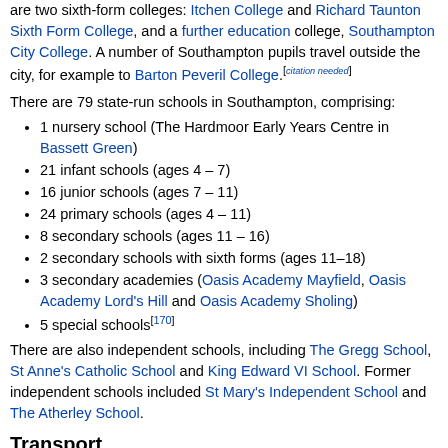are two sixth-form colleges: Itchen College and Richard Taunton Sixth Form College, and a further education college, Southampton City College. A number of Southampton pupils travel outside the city, for example to Barton Peveril College.[citation needed]
There are 79 state-run schools in Southampton, comprising:
1 nursery school (The Hardmoor Early Years Centre in Bassett Green)
21 infant schools (ages 4 – 7)
16 junior schools (ages 7 – 11)
24 primary schools (ages 4 – 11)
8 secondary schools (ages 11 – 16)
2 secondary schools with sixth forms (ages 11–18)
3 secondary academies (Oasis Academy Mayfield, Oasis Academy Lord's Hill and Oasis Academy Sholing)
5 special schools[170]
There are also independent schools, including The Gregg School, St Anne's Catholic School and King Edward VI School. Former independent schools included St Mary's Independent School and The Atherley School.
Transport